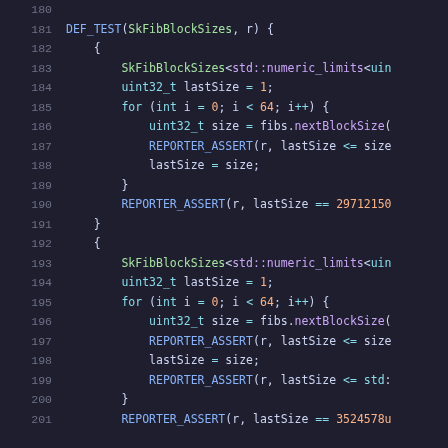[Figure (screenshot): Source code screenshot showing C++ unit test code with syntax highlighting. Lines 181-201 of a file, showing DEF_TEST function for SkFibBlockSizes with loops, assertions, and numeric_limits template usage. Dark background with colored syntax highlighting.]